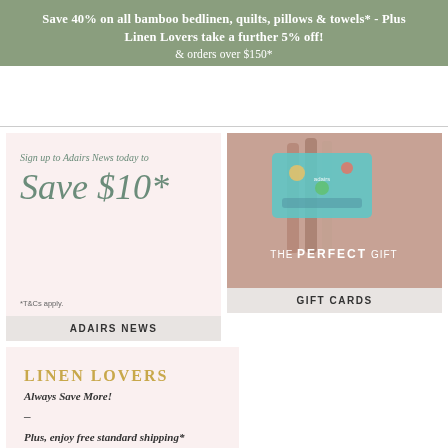Save 40% on all bamboo bedlinen, quilts, pillows & towels* - Plus Linen Lovers take a further 5% off!
& orders over $150*
[Figure (photo): Adairs News sign-up promotional card with text: Sign up to Adairs News today to Save $10*. *T&Cs apply. Label: ADAIRS NEWS]
[Figure (photo): Gift cards promotional image showing folded blankets and a gift card on pink background with text: THE PERFECT GIFT. Label: GIFT CARDS]
[Figure (infographic): Linen Lovers promotional card with gold text: LINEN LOVERS, Always Save More!, dash, Plus, enjoy free standard shipping*]